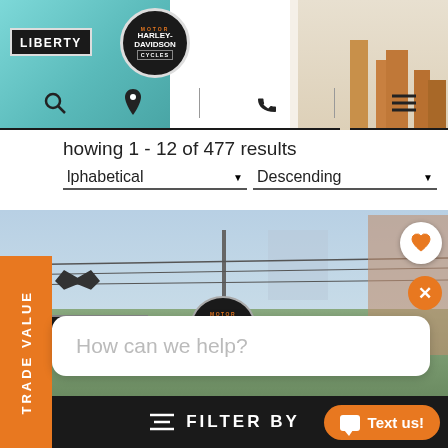[Figure (screenshot): Liberty Harley-Davidson dealership website header with logo, Statue of Liberty graphic, city skyline, navigation icons (search, location, phone, hamburger menu)]
Showing 1 - 12 of 477 results
Alphabetical   Descending
[Figure (photo): Freedom Valley Harley-Davidson dealership exterior photo with sky, power lines, signage]
TRADE VALUE
How can we help?
Text us!
FILTER BY